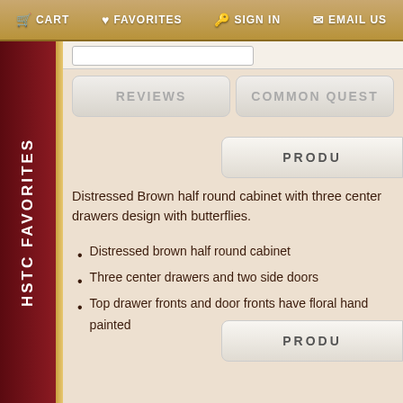CART  FAVORITES  SIGN IN  EMAIL US
HSTC FAVORITES
REVIEWS
COMMON QUEST
PRODU
Distressed Brown half round cabinet with three center drawers design with butterflies.
Distressed brown half round cabinet
Three center drawers and two side doors
Top drawer fronts and door fronts have floral hand painted
PRODU